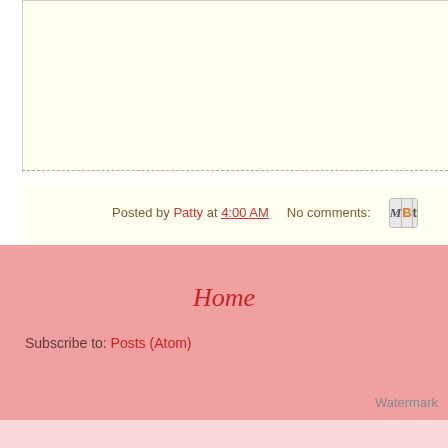Posted by Patty at 4:00 AM   No comments:
Home
Subscribe to: Posts (Atom)
Watermark